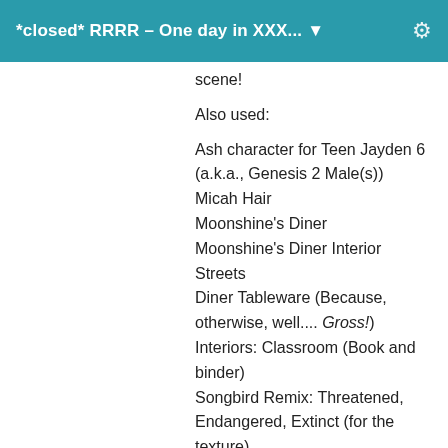*closed* RRRR – One day in XXX... ▼
scene!
Also used:
Ash character for Teen Jayden 6 (a.k.a., Genesis 2 Male(s))
Micah Hair
Moonshine's Diner
Moonshine's Diner Interior
Streets
Diner Tableware (Because, otherwise, well.... Gross!)
Interiors: Classroom (Book and binder)
Songbird Remix: Threatened, Endangered, Extinct (for the texture)